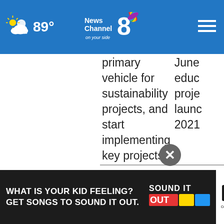NewsChannel 8 on your side — 89°
primary vehicle for sustainability projects, and start implementing key projects.
June educ proje launc 2021
Adopt the LPRM to
Achie Inclu Susta nd Repo
[Figure (screenshot): Advertisement banner: 'What is your kid feeling? Get songs to sound it out.' with Sound It Out logo, ad council and Pivotal branding.]